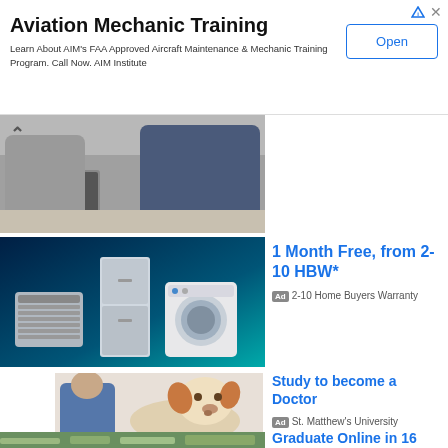[Figure (screenshot): Advertisement banner for Aviation Mechanic Training with Open button]
Aviation Mechanic Training
Learn About AIM's FAA Approved Aircraft Maintenance & Mechanic Training Program. Call Now. AIM Institute
[Figure (photo): Business people at a laptop, partially shown, with upward chevron arrow]
[Figure (photo): Home appliances including AC unit, refrigerator, washing machine on dark blue background]
1 Month Free, from 2-10 HBW*
Ad 2-10 Home Buyers Warranty
[Figure (photo): Veterinarian examining a Jack Russell terrier dog]
Study to become a Doctor
Ad St. Matthew's University
[Figure (photo): Aerial view of a town or city landscape]
Graduate Online in 16